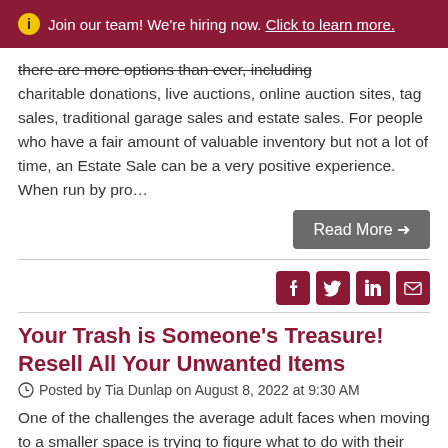ℹ Join our team! We're hiring now. Click to learn more.
there are more options than ever, including charitable donations, live auctions, online auction sites, tag sales, traditional garage sales and estate sales. For people who have a fair amount of valuable inventory but not a lot of time, an Estate Sale can be a very positive experience. When run by pro…
Read More →
Social share icons: Facebook, Twitter, LinkedIn, Email
Your Trash is Someone's Treasure! Resell All Your Unwanted Items
Posted by Tia Dunlap on August 8, 2022 at 9:30 AM
One of the challenges the average adult faces when moving to a smaller space is trying to figure what to do with their downsized possessions. Today, there are more options than ever, including charitable